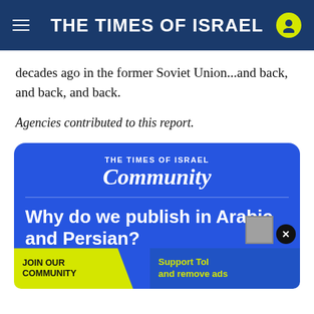THE TIMES OF ISRAEL
decades ago in the former Soviet Union...and back, and back, and back.
Agencies contributed to this report.
[Figure (infographic): The Times of Israel Community promotional box with heading 'Why do we publish in Arabic and Persian?' on blue background, with join community and remove ads banner at bottom.]